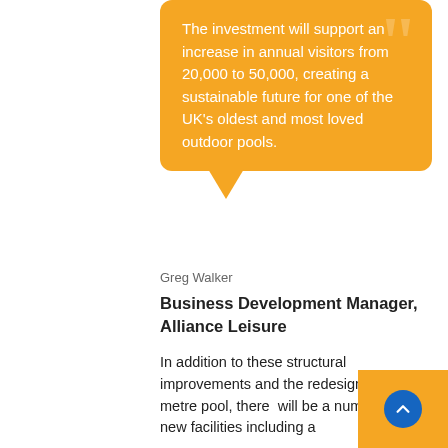The investment will support an increase in annual visitors from 20,000 to 50,000, creating a sustainable future for one of the UK's oldest and most loved outdoor pools.
Greg Walker
Business Development Manager, Alliance Leisure
In addition to these structural improvements and the redesigned 50 metre pool, there  will be a number of new facilities including a